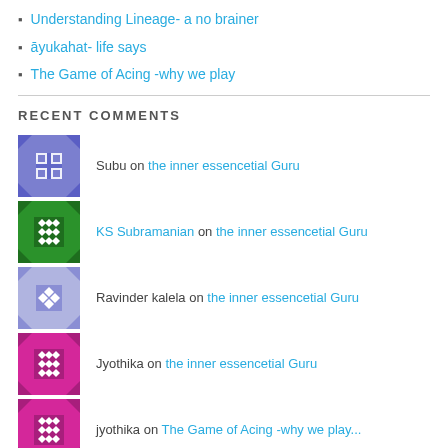Understanding Lineage- a no brainer
āyukahat- life says
The Game of Acing -why we play
RECENT COMMENTS
Subu on the inner essencetial Guru
KS Subramanian on the inner essencetial Guru
Ravinder kalela on the inner essencetial Guru
Jyothika on the inner essencetial Guru
jyothika on The Game of Acing -why we play...